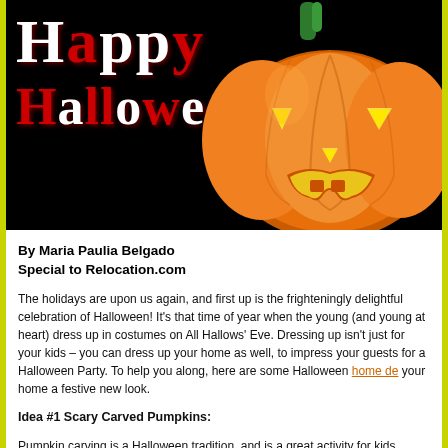[Figure (illustration): Halloween themed banner image with black background. Left side shows dripping 'Happy Halloween' text in white with red accents. Right side shows a carved jack-o-lantern pumpkin (orange with yellow glowing eyes and mouth) with a green stem against a black background.]
By Maria Paulia Belgado
Special to Relocation.com
The holidays are upon us again, and first up is the frighteningly delightful celebration of Halloween! It's that time of year when the young (and young at heart) dress up in costumes on All Hallows' Eve. Dressing up isn't just for your kids – you can dress up your home as well, to impress your guests for a Halloween Party. To help you along, here are some Halloween home decorating ideas to give your home a festive new look.
Idea #1 Scary Carved Pumpkins:
Pumpkin carving is a Halloween tradition, and is a great activity for kids (though they should always be supervised!) If you've never done it before, it's easy to make your own Jack-O-Lantern. Pick a pumpkin – the bigger the better – in a shape you like. Draw a circle on the top, around the stem, and cut off the top off and set it aside. Scoop out the insides and throw it out. Now, draw a scary face on the pumpkin, and carefully cut it out it a small knife. When you're done, place a small